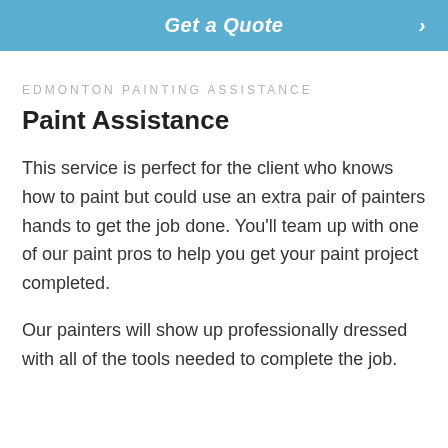[Figure (other): Blue call-to-action button with italic text 'Get a Quote' and a right-pointing arrow chevron]
EDMONTON PAINTING ASSISTANCE
Paint Assistance
This service is perfect for the client who knows how to paint but could use an extra pair of painters hands to get the job done. You'll team up with one of our paint pros to help you get your paint project completed.
Our painters will show up professionally dressed with all of the tools needed to complete the job.